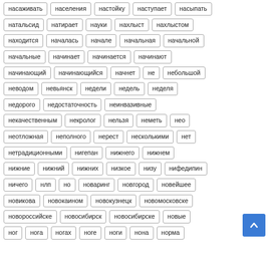насаживать, населения, настойку, наступает, насыпать, натальсид, натирает, науки, нахлыст, нахлыстом, находится, началась, начале, начальная, начальной, начальные, начинает, начинается, начинают, начинающий, начинающийся, начнет, не, небольшой, неводом, невьянск, недели, недель, неделя, недорого, недостаточность, неинвазивные, некачественным, некролог, нельзя, неметь, нео, неотложная, неполного, нерест, несколькими, нет, нетрадиционными, нигепан, нижнего, нижнем, нижние, нижний, нижних, низкое, низу, нифедипин, ничего, нлп, но, новаринг, новгород, новейшее, новикова, новокаином, новокузнецк, новомосковске, новороссийске, новосибирск, новосибирске, новые, ног, нога, ногах, ноге, ноги, нона, норма